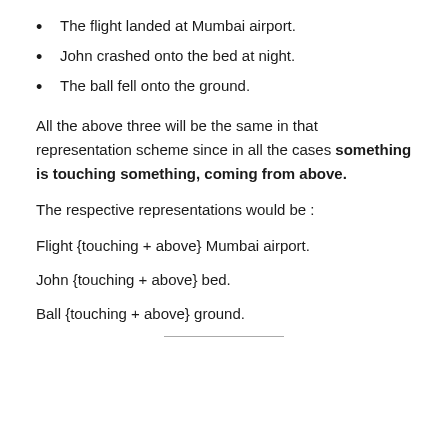The flight landed at Mumbai airport.
John crashed onto the bed at night.
The ball fell onto the ground.
All the above three will be the same in that representation scheme since in all the cases something is touching something, coming from above.
The respective representations would be :
Flight {touching + above} Mumbai airport.
John {touching + above} bed.
Ball {touching + above} ground.